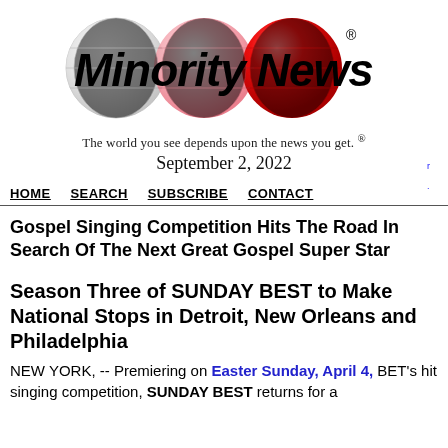[Figure (logo): Minority News logo with three globe icons in white, pink, and red, with bold italic 'Minority News' text and a registered trademark symbol]
The world you see depends upon the news you get. ®
September 2, 2022
HOME  SEARCH  SUBSCRIBE  CONTACT
Gospel Singing Competition Hits The Road In Search Of The Next Great Gospel Super Star
Season Three of SUNDAY BEST to Make National Stops in Detroit, New Orleans and Philadelphia
NEW YORK, -- Premiering on Easter Sunday, April 4, BET's hit singing competition, SUNDAY BEST returns for a